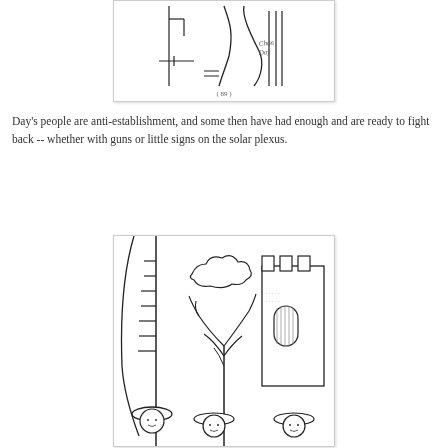[Figure (illustration): A line drawing illustration by Chon Day showing abstract figures with a sign, labeled '[89]' at the bottom center, with 'Chon Day' signature in the lower right.]
Day's people are anti-establishment, and some then have had enough and are ready to fight back -- whether with guns or little signs on the solar plexus.
[Figure (illustration): A line drawing illustration showing three figures wearing wide-brimmed hats standing in front of architectural elements including a tower/castle battlement, a bare tree, and tall columns. A cloud is visible in the background.]